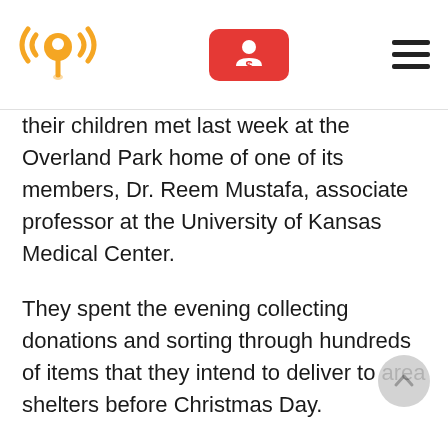[Logo] [Donate button] [Hamburger menu]
their children met last week at the Overland Park home of one of its members, Dr. Reem Mustafa, associate professor at the University of Kansas Medical Center.
They spent the evening collecting donations and sorting through hundreds of items that they intend to deliver to area shelters before Christmas Day.
As one of this year's Muslim organizers, Dr. Mustafa was humbled by the outpouring of support. She says that so many of her sisters drove through snow and ice to deliver donations to her house.